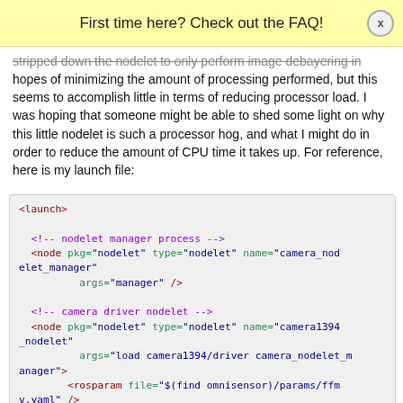First time here? Check out the FAQ!
stripped down the nodelet to only perform image debayering in hopes of minimizing the amount of processing performed, but this seems to accomplish little in terms of reducing processor load. I was hoping that someone might be able to shed some light on why this little nodelet is such a processor hog, and what I might do in order to reduce the amount of CPU time it takes up. For reference, here is my launch file:
[Figure (screenshot): XML launch file code block showing nodelet manager and camera driver nodelet configuration]